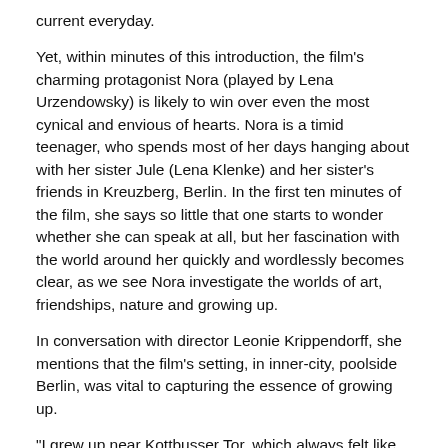current everyday.
Yet, within minutes of this introduction, the film's charming protagonist Nora (played by Lena Urzendowsky) is likely to win over even the most cynical and envious of hearts. Nora is a timid teenager, who spends most of her days hanging about with her sister Jule (Lena Klenke) and her sister's friends in Kreuzberg, Berlin. In the first ten minutes of the film, she says so little that one starts to wonder whether she can speak at all, but her fascination with the world around her quickly and wordlessly becomes clear, as we see Nora investigate the worlds of art, friendships, nature and growing up.
In conversation with director Leonie Krippendorff, she mentions that the film's setting, in inner-city, poolside Berlin, was vital to capturing the essence of growing up.
"I grew up near Kottbusser Tor, which always felt like the centre of Berlin to me, and I used to go to the swimming pool there … Of course, I grew up without social media so I'm a totally different generation. So then I did a lot of research, and I spoke